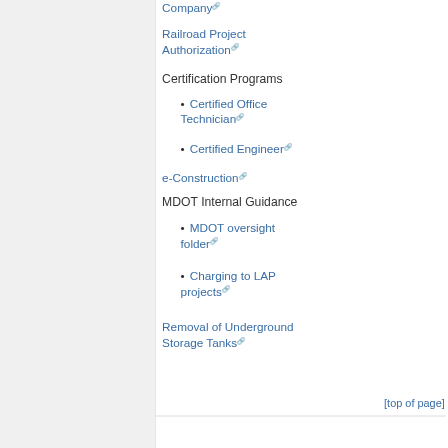Company [external link]
Railroad Project Authorization [external link]
Certification Programs
Certified Office Technician [external link]
Certified Engineer [external link]
e-Construction [external link]
MDOT Internal Guidance
MDOT oversight folder [external link]
Charging to LAP projects [external link]
Removal of Underground Storage Tanks [external link]
[top of page]